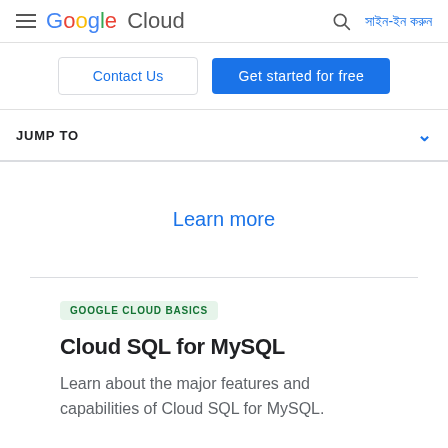Google Cloud — সাইন-ইন করুন
Contact Us
Get started for free
JUMP TO
Learn more
GOOGLE CLOUD BASICS
Cloud SQL for MySQL
Learn about the major features and capabilities of Cloud SQL for MySQL.